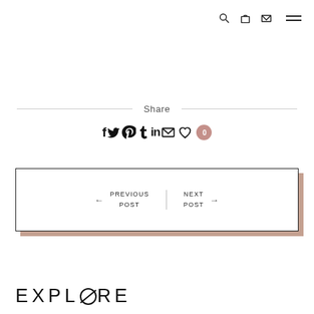Navigation icons: search, bag, email, menu
Share
[Figure (other): Social share icons row: f (Facebook), Twitter bird, Pinterest P, tumblr, in (LinkedIn), envelope, heart, and a count badge showing 0]
← PREVIOUS POST  |  NEXT POST →
EXPLORE